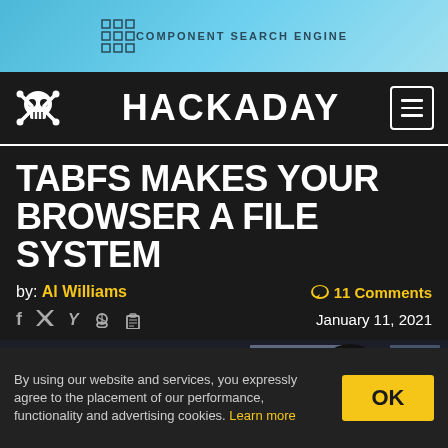[Figure (logo): Component Search Engine banner logo with grid icon]
HACKADAY
TABFS MAKES YOUR BROWSER A FILE SYSTEM
by: Al Williams   11 Comments   January 11, 2021
[Figure (screenshot): Dark terminal/file browser screenshot with Linux Tux penguin mascot overlay]
By using our website and services, you expressly agree to the placement of our performance, functionality and advertising cookies. Learn more